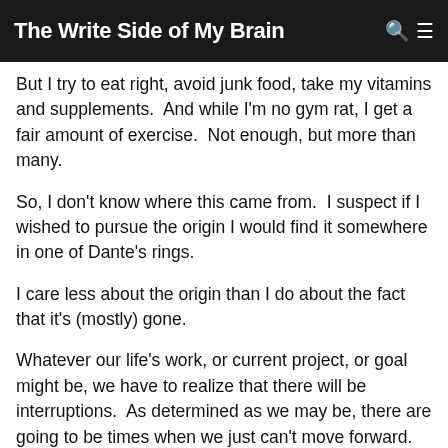The Write Side of My Brain
But I try to eat right, avoid junk food, take my vitamins and supplements.  And while I'm no gym rat, I get a fair amount of exercise.  Not enough, but more than many.
So, I don't know where this came from.  I suspect if I wished to pursue the origin I would find it somewhere in one of Dante's rings.
I care less about the origin than I do about the fact that it's (mostly) gone.
Whatever our life's work, or current project, or goal might be, we have to realize that there will be interruptions.  As determined as we may be, there are going to be times when we just can't move forward.
Or, as in the case of last Wednesday, we just can't move.